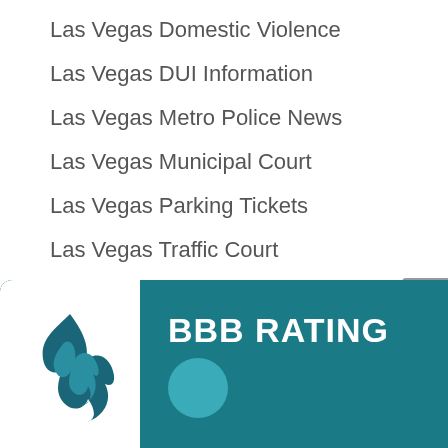Las Vegas Domestic Violence
Las Vegas DUI Information
Las Vegas Metro Police News
Las Vegas Municipal Court
Las Vegas Parking Tickets
Las Vegas Traffic Court
Las Vegas Traffic News
Las Vegas Traffic School
Las Vegas Warrant
Uncategorized
[Figure (logo): BBB Rating logo with teal background and white BBB flame logo, showing BBB RATING text and a teal circle below. A black A-frame logo appears on the right side.]